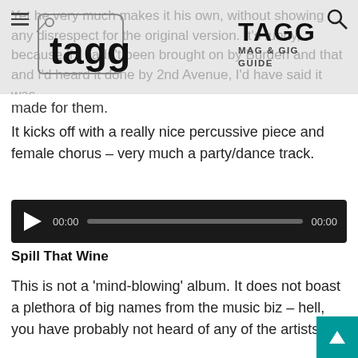TAGG MAG & GIG GUIDE
Yet he very much makes it his own, without showing any disrespect for the original version. It's funny, because if I hadn't been brought on by Burden and that and I'd heard it done by 2nd Avenue, I'd have said it was made for them.
It kicks off with a really nice percussive piece and female chorus – very much a party/dance track.
[Figure (other): Audio player with play button, time display 00:00, progress bar, and end time 00:00]
Spill That Wine
This is not a 'mind-blowing' album. It does not boast a plethora of big names from the music biz – hell, you have probably not heard of any of the artists on